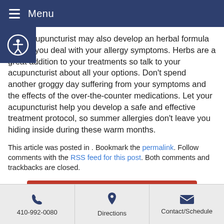Menu
Your acupuncturist may also develop an herbal formula to help you deal with your allergy symptoms. Herbs are a great addition to your treatments so talk to your acupuncturist about all your options. Don't spend another groggy day suffering from your symptoms and the effects of the over-the-counter medications. Let your acupuncturist help you develop a safe and effective treatment protocol, so summer allergies don't leave you hiding inside during these warm months.
This article was posted in . Bookmark the permalink. Follow comments with the RSS feed for this post. Both comments and trackbacks are closed.
Click here to Schedule Now
410-992-0080 | Directions | Contact/Schedule